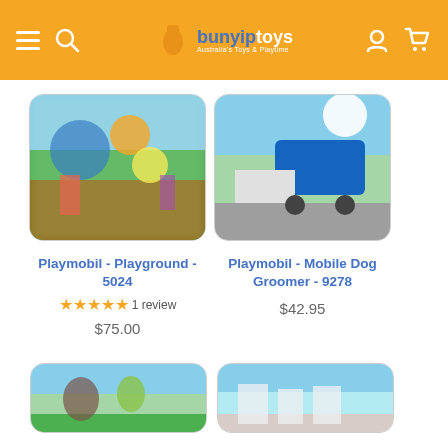Bunyip Toys - navigation header with hamburger menu, search icon, logo, user icon, and cart icon
[Figure (photo): Playmobil Playground set 5024 product image - colorful blurred playground scene]
Playmobil - Playground - 5024
★★★★★ 1 review
$75.00
[Figure (photo): Playmobil Mobile Dog Groomer 9278 product image - blurred outdoor scene with blue truck]
Playmobil - Mobile Dog Groomer - 9278
$42.95
[Figure (photo): Third product - partial image at bottom left, blurred outdoor scene]
[Figure (photo): Fourth product - partial image at bottom right, blurred outdoor scene]